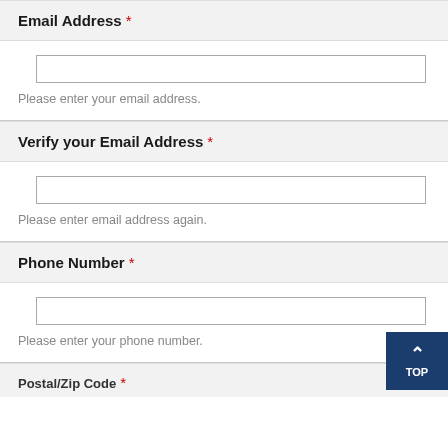Email Address *
Please enter your email address.
Verify your Email Address *
Please enter email address again.
Phone Number *
Please enter your phone number.
Postal/Zip Code *